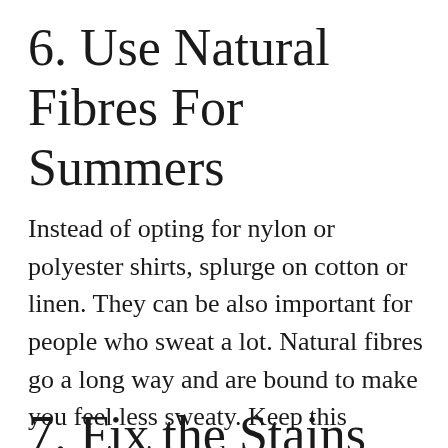6. Use Natural Fibres For Summers
Instead of opting for nylon or polyester shirts, splurge on cotton or linen. They can be also important for people who sweat a lot. Natural fibres go a long way and are bound to make you feel less sweaty. Keep this suggestion in mind so you never mess up in an interview or on a date night!
7. Fix the Stains